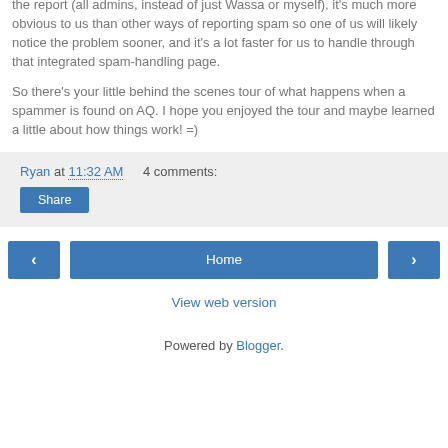the report (all admins, instead of just Wassa or myself), it's much more obvious to us than other ways of reporting spam so one of us will likely notice the problem sooner, and it's a lot faster for us to handle through that integrated spam-handling page.

So there's your little behind the scenes tour of what happens when a spammer is found on AQ. I hope you enjoyed the tour and maybe learned a little about how things work! =)
Ryan at 11:32 AM   4 comments:
Share
‹  Home  ›
View web version
Powered by Blogger.